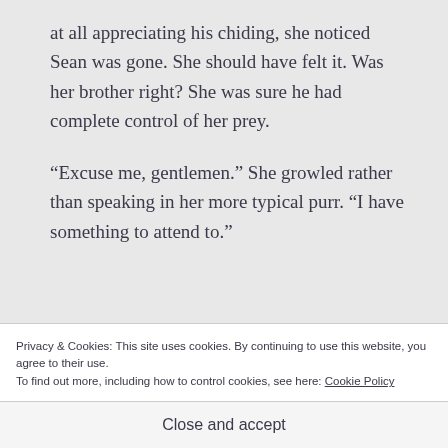at all appreciating his chiding, she noticed Sean was gone. She should have felt it. Was her brother right? She was sure he had complete control of her prey.
“Excuse me, gentlemen.” She growled rather than speaking in her more typical purr. “I have something to attend to.”
Privacy & Cookies: This site uses cookies. By continuing to use this website, you agree to their use.
To find out more, including how to control cookies, see here: Cookie Policy
Close and accept